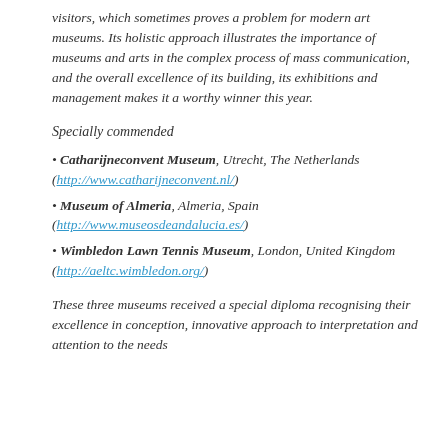visitors, which sometimes proves a problem for modern art museums. Its holistic approach illustrates the importance of museums and arts in the complex process of mass communication, and the overall excellence of its building, its exhibitions and management makes it a worthy winner this year.
Specially commended
Catharijneconvent Museum, Utrecht, The Netherlands (http://www.catharijneconvent.nl/)
Museum of Almeria, Almeria, Spain (http://www.museosdeandalucia.es/)
Wimbledon Lawn Tennis Museum, London, United Kingdom (http://aeltc.wimbledon.org/)
These three museums received a special diploma recognising their excellence in conception, innovative approach to interpretation and attention to the needs